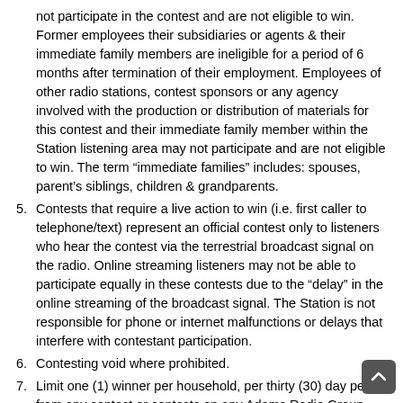not participate in the contest and are not eligible to win. Former employees their subsidiaries or agents & their immediate family members are ineligible for a period of 6 months after termination of their employment. Employees of other radio stations, contest sponsors or any agency involved with the production or distribution of materials for this contest and their immediate family member within the Station listening area may not participate and are not eligible to win. The term “immediate families” includes: spouses, parent’s siblings, children & grandparents.
5. Contests that require a live action to win (i.e. first caller to telephone/text) represent an official contest only to listeners who hear the contest via the terrestrial broadcast signal on the radio. Online streaming listeners may not be able to participate equally in these contests due to the “delay” in the online streaming of the broadcast signal. The Station is not responsible for phone or internet malfunctions or delays that interfere with contestant participation.
6. Contesting void where prohibited.
7. Limit one (1) winner per household, per thirty (30) day period from any contest or contests on any Adams Radio Group station. Contestants or households are eligible to win a prize or prize package with a combined value of $600 or more only once per 12